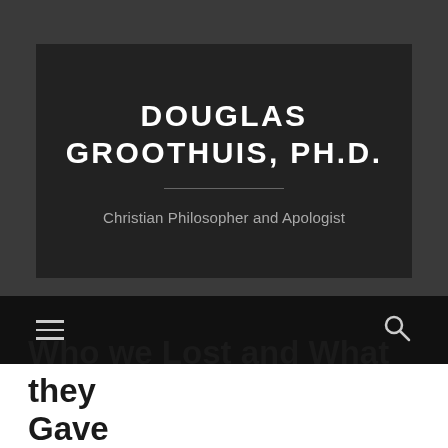DOUGLAS GROOTHUIS, PH.D.
Christian Philosopher and Apologist
[Figure (screenshot): Navigation bar with hamburger menu icon on the left and search icon on the right, on a black background.]
Who we Lost and What they Gave